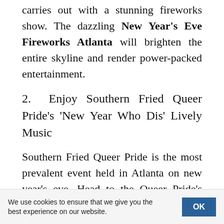carries out with a stunning fireworks show. The dazzling New Year's Eve Fireworks Atlanta will brighten the entire skyline and render power-packed entertainment.
2. Enjoy Southern Fried Queer Pride's 'New Year Who Dis' Lively Music
Southern Fried Queer Pride is the most prevalent event held in Atlanta on new year's eve. Head to the Queer Pride's 'New Year Who Dis' event organized at the
We use cookies to ensure that we give you the best experience on our website.